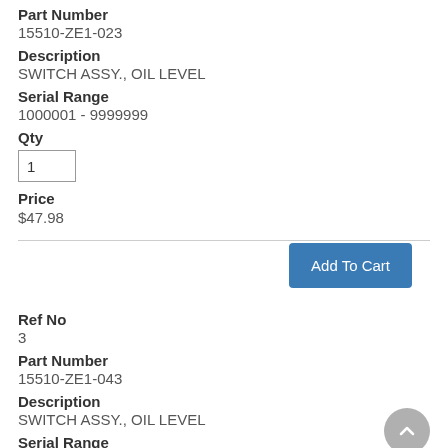Part Number
15510-ZE1-023
Description
SWITCH ASSY., OIL LEVEL
Serial Range
1000001 - 9999999
Qty
1
Price
$47.98
Add To Cart
Ref No
3
Part Number
15510-ZE1-043
Description
SWITCH ASSY., OIL LEVEL
Serial Range
1000001 - 9999999